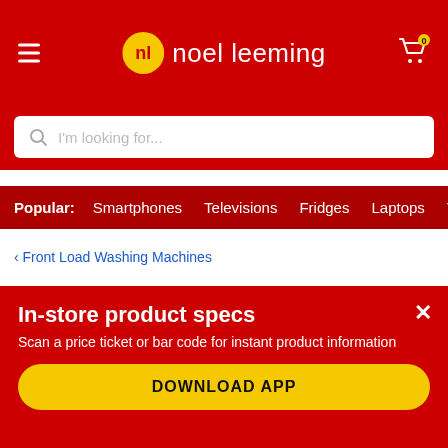noel leeming
I'm looking for...
Popular: Smartphones Televisions Fridges Laptops Tab
< Front Load Washing Machines
Panasonic 10kg Front Load Washer with Blue Ag
2.3 (3) Write a review
In-store product specs
Scan a price ticket or bar code for instant product information
DOWNLOAD APP